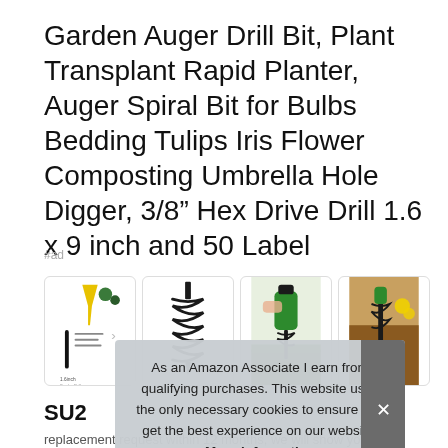Garden Auger Drill Bit, Plant Transplant Rapid Planter, Auger Spiral Bit for Bulbs Bedding Tulips Iris Flower Composting Umbrella Hole Digger, 3/8" Hex Drive Drill 1.6 x 9 inch and 50 Label
#ad
[Figure (photo): Row of four product thumbnail images: (1) diagram/info graphic with yellow funnel, measurements and small plant images; (2) auger drill bit shown against white background; (3) green drill with auger bit in grass/dirt; (4) auger drill bit in soil with yellow flowers.]
As an Amazon Associate I earn from qualifying purchases. This website uses the only necessary cookies to ensure you get the best experience on our website. More information
SU2
replacement request within 12 months, we will show you our